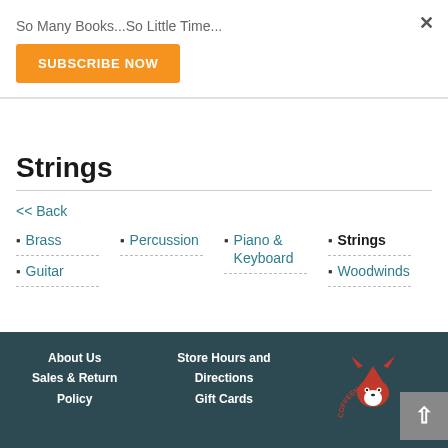So Many Books...So Little Time...
SUBSCRIBE NOW
Strings
<< Back
Brass
Guitar
Percussion
Piano & Keyboard
Strings
Woodwinds
About Us | Sales & Return | Store Hours and Directions | Gift Cards